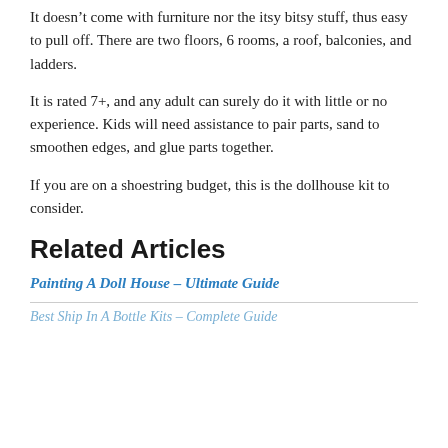It doesn't come with furniture nor the itsy bitsy stuff, thus easy to pull off. There are two floors, 6 rooms, a roof, balconies, and ladders.
It is rated 7+, and any adult can surely do it with little or no experience. Kids will need assistance to pair parts, sand to smoothen edges, and glue parts together.
If you are on a shoestring budget, this is the dollhouse kit to consider.
Related Articles
Painting A Doll House – Ultimate Guide
Best Ship In A Bottle Kits – Complete Guide